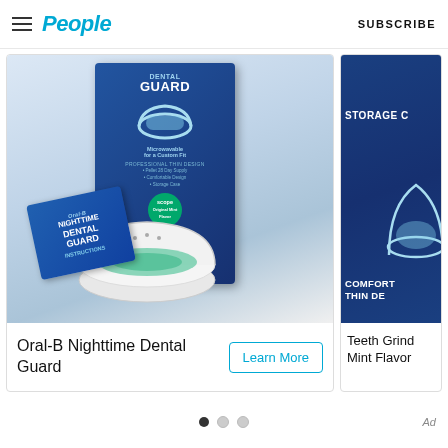People — SUBSCRIBE
[Figure (photo): Oral-B Nighttime Dental Guard product photo showing box and tray]
Oral-B Nighttime Dental Guard
Learn More
[Figure (photo): Partially visible second dental guard product card with STORAGE and COMFORT THIN DESIGN text]
Teeth Grind Mint Flavor
Ad